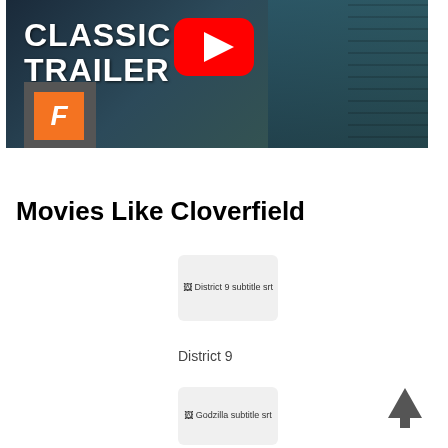[Figure (screenshot): YouTube video thumbnail showing a classic movie trailer with a bearded man, YouTube play button overlay, and a Fandango badge in the lower left. Text reads 'CLASSIC TRAILER'.]
Movies Like Cloverfield
[Figure (screenshot): Broken image placeholder for District 9 subtitle srt]
District 9
[Figure (screenshot): Broken image placeholder for Godzilla subtitle srt]